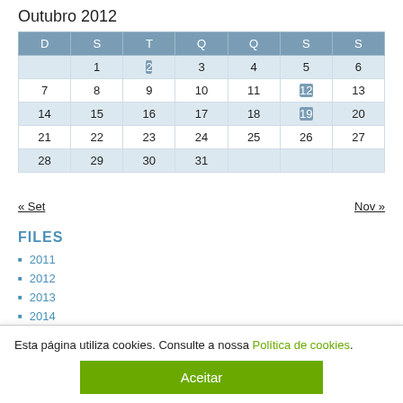Outubro 2012
| D | S | T | Q | Q | S | S |
| --- | --- | --- | --- | --- | --- | --- |
|  | 1 | 2 | 3 | 4 | 5 | 6 |
| 7 | 8 | 9 | 10 | 11 | 12 | 13 |
| 14 | 15 | 16 | 17 | 18 | 19 | 20 |
| 21 | 22 | 23 | 24 | 25 | 26 | 27 |
| 28 | 29 | 30 | 31 |  |  |  |
« Set    Nov »
FILES
2011
2012
2013
2014
2015
Esta página utiliza cookies. Consulte a nossa Política de cookies.
Aceitar
TAGS